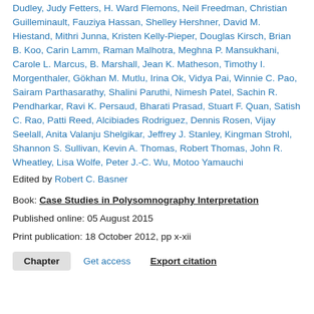Dudley, Judy Fetters, H. Ward Flemons, Neil Freedman, Christian Guilleminault, Fauziya Hassan, Shelley Hershner, David M. Hiestand, Mithri Junna, Kristen Kelly-Pieper, Douglas Kirsch, Brian B. Koo, Carin Lamm, Raman Malhotra, Meghna P. Mansukhani, Carole L. Marcus, B. Marshall, Jean K. Matheson, Timothy I. Morgenthaler, Gökhan M. Mutlu, Irina Ok, Vidya Pai, Winnie C. Pao, Sairam Parthasarathy, Shalini Paruthi, Nimesh Patel, Sachin R. Pendharkar, Ravi K. Persaud, Bharati Prasad, Stuart F. Quan, Satish C. Rao, Patti Reed, Alcibiades Rodriguez, Dennis Rosen, Vijay Seelall, Anita Valanju Shelgikar, Jeffrey J. Stanley, Kingman Strohl, Shannon S. Sullivan, Kevin A. Thomas, Robert Thomas, John R. Wheatley, Lisa Wolfe, Peter J.-C. Wu, Motoo Yamauchi
Edited by Robert C. Basner
Book: Case Studies in Polysomnography Interpretation
Published online: 05 August 2015
Print publication: 18 October 2012, pp x-xii
Chapter  Get access  Export citation